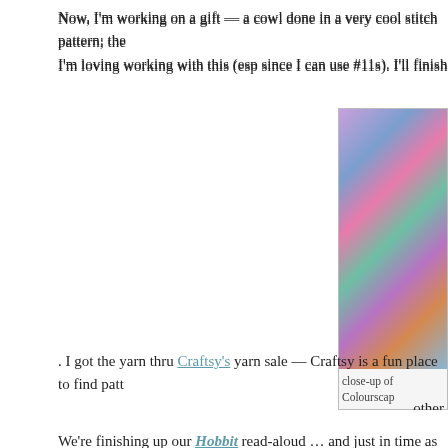Now, I'm working on a gift — a cowl done in a very cool stitch pattern; the I'm loving working with this (esp since I can use #11s). I'll finish out the sk
[Figure (photo): Close-up photo of colorful yarn skeins in purple, blue, pink and green tones, with some knitted fabric visible]
close-up of Colourscap
. I got the yarn thru Craftsy's yarn sale — Craftsy is a fun place to find patt other
We're finishing up our Hobbit read-aloud … and just in time as the movie c me, I'm reading The Little Way of Advent, a perfect Advent companion for meditation just as I thought I would!
The final book on my reading table, also for me to review (this time for ma Habemus Papam, a manga biography of Pope Benedict from the writing ge got to read it first — Hambone won and finished it in a day … HotRod and story-teller, with the manga-artstyle the kids love. What more could you wa Judith, and a fiction story, Many Are Called. Looks like some good manga v